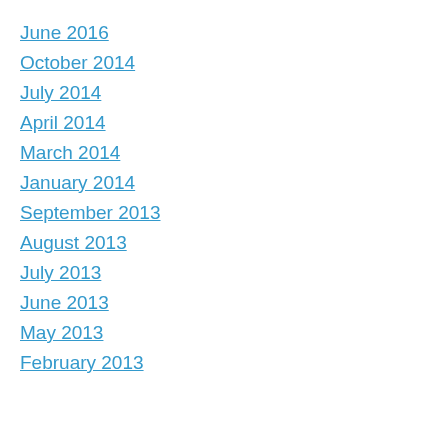June 2016
October 2014
July 2014
April 2014
March 2014
January 2014
September 2013
August 2013
July 2013
June 2013
May 2013
February 2013